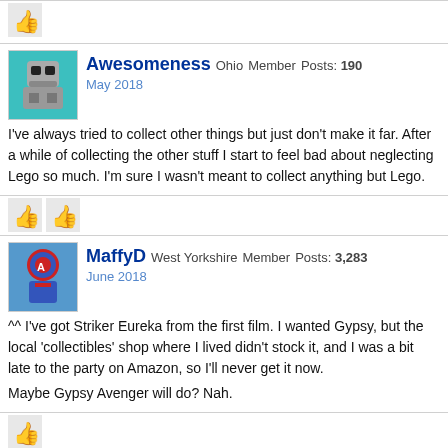[Figure (other): Like/thumbs-up icon]
Awesomeness Ohio Member Posts: 190
May 2018
I've always tried to collect other things but just don't make it far. After a while of collecting the other stuff I start to feel bad about neglecting Lego so much. I'm sure I wasn't meant to collect anything but Lego.
[Figure (other): Two like/thumbs-up icons]
MaffyD West Yorkshire Member Posts: 3,283
June 2018
^^ I've got Striker Eureka from the first film. I wanted Gypsy, but the local 'collectibles' shop where I lived didn't stock it, and I was a bit late to the party on Amazon, so I'll never get it now.

Maybe Gypsy Avenger will do? Nah.
[Figure (other): One like/thumbs-up icon]
MAGNINOMINISUMBRA Member Posts: 993
June 2018